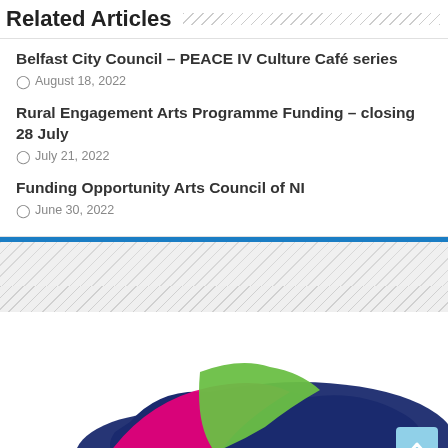Related Articles
Belfast City Council – PEACE IV Culture Café series
August 18, 2022
Rural Engagement Arts Programme Funding – closing 28 July
July 21, 2022
Funding Opportunity Arts Council of NI
June 30, 2022
[Figure (logo): Colorful map/logo of Northern Ireland with pink, green, and dark blue shapes]